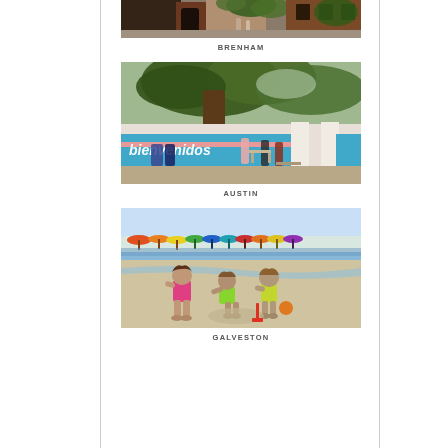[Figure (photo): Partial view of a street or courtyard scene in Brenham — buildings with brick, people walking, greenery, partially cropped at top]
BRENHAM
[Figure (photo): Outdoor scene in Austin — large oak tree, people sitting and standing near a colorful blue wall with text 'bienvenidos', brick patio]
AUSTIN
[Figure (photo): Beach scene in Galveston — three young children playing in the sand near the water's edge, colorful beach umbrellas in background]
GALVESTON